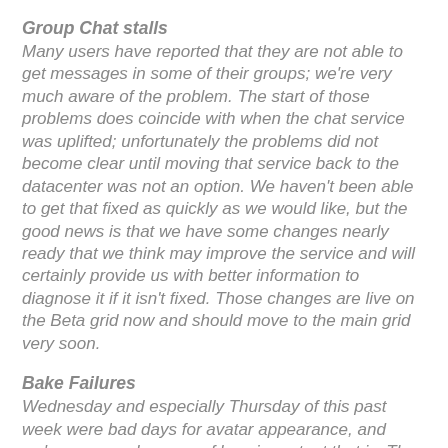Group Chat stalls
Many users have reported that they are not able to get messages in some of their groups; we're very much aware of the problem. The start of those problems does coincide with when the chat service was uplifted; unfortunately the problems did not become clear until moving that service back to the datacenter was not an option. We haven't been able to get that fixed as quickly as we would like, but the good news is that we have some changes nearly ready that we think may improve the service and will certainly provide us with better information to diagnose it if it isn't fixed. Those changes are live on the Beta grid now and should move to the main grid very soon.
Bake Failures
Wednesday and especially Thursday of this past week were bad days for avatar appearance, and we're very much aware of how important that is. The avatar bake service has actually been uplifted for some time - it wasn't moving it that caused the problem, but another change to a related service. The good news is that thanks to a great cross-team effort during those two days we were able to determine why an